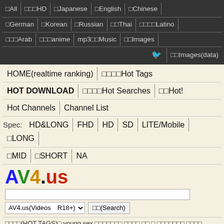□All | □□□HD | □Japanese | □English | □Chinese | □German | □Korean | □Russian | □□Thai | □□□□Latino | □□□Arab | □□□anime | mp3□□Music | □□Images | [twitter] □□Images(data)
HOME(realtime ranking) | □□□□Hot Tags
HOT DOWNLOAD | □□□□Hot Searches | □□Hot!
Hot Channels | Channel List
Spec: HD&LONG | FHD | HD | SD | LITE/Mobile | □LONG | □MID | □SHORT | NA
AV4.us
Search box and AV4.us(Videos R18+) dropdown with □□(Search) button
□□□□(HOT TAGS)□ young sex □□□□□□□ □□□□ □□ □ □□□□□□□ □□□□